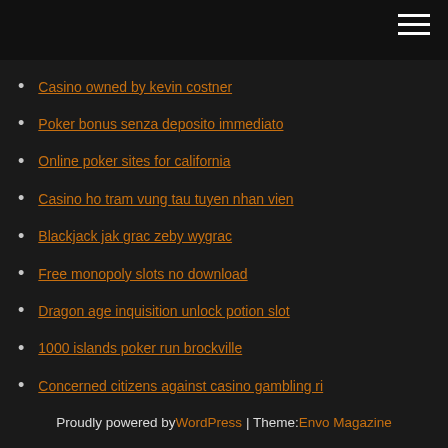Casino owned by kevin costner
Poker bonus senza deposito immediato
Online poker sites for california
Casino ho tram vung tau tuyen nhan vien
Blackjack jak grac zeby wygrac
Free monopoly slots no download
Dragon age inquisition unlock potion slot
1000 islands poker run brockville
Concerned citizens against casino gambling ri
Dh texas poker for android
Big beaver tavern poker schedule
Proudly powered by WordPress | Theme: Envo Magazine